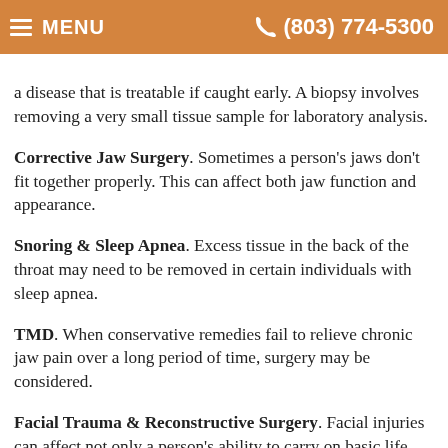MENU  (803) 774-5300
a disease that is treatable if caught early. A biopsy involves removing a very small tissue sample for laboratory analysis. Corrective Jaw Surgery. Sometimes a person's jaws don't fit together properly. This can affect both jaw function and appearance. Snoring & Sleep Apnea. Excess tissue in the back of the throat may need to be removed in certain individuals with sleep apnea. TMD. When conservative remedies fail to relieve chronic jaw pain over a long period of time, surgery may be considered. Facial Trauma & Reconstructive Surgery. Facial injuries can affect not only a person's ability to carry on basic life functions such as eating, but also his or her appearance. Knocked-out teeth can sometimes be re-implanted, or replaced with dental implants. Cleft Lip/Palate. These birth defects are among the most common, estimated to affect around one in 700-800 babies born in North America. With proper surgical treatment, the child has an excellent chance of leading a healthy, normal life.